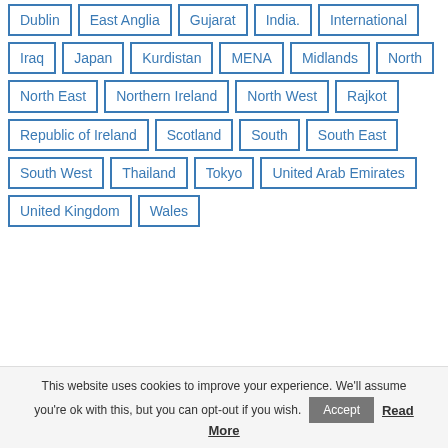Dublin
East Anglia
Gujarat
India.
International
Iraq
Japan
Kurdistan
MENA
Midlands
North
North East
Northern Ireland
North West
Rajkot
Republic of Ireland
Scotland
South
South East
South West
Thailand
Tokyo
United Arab Emirates
United Kingdom
Wales
This website uses cookies to improve your experience. We'll assume you're ok with this, but you can opt-out if you wish. Accept Read More